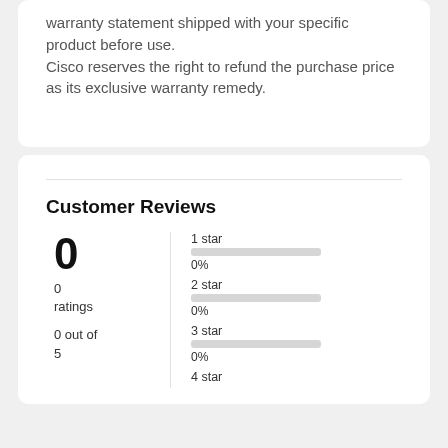warranty statement shipped with your specific product before use. Cisco reserves the right to refund the purchase price as its exclusive warranty remedy.
Customer Reviews
0
0 ratings
0 out of 5
1 star 0%
2 star 0%
3 star 0%
4 star